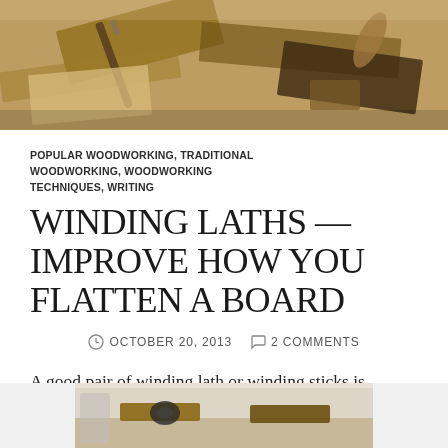[Figure (photo): Woodworking tools and wooden boards on a workbench, viewed from above]
POPULAR WOODWORKING, TRADITIONAL WOODWORKING, WOODWORKING TECHNIQUES, WRITING
WINDING LATHS — IMPROVE HOW YOU FLATTEN A BOARD
OCTOBER 20, 2013  2 COMMENTS
A good pair of winding lath or winding sticks is sometimes hard to find — I suspect not many survived the burn pile. The good news is that a new set is easily made in an few minutes at the bench.
[Figure (photo): Close-up photo of winding laths or sticks at the bottom of the page]